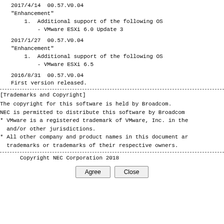2017/4/14  00.57.V0.04
"Enhancement"
    1.  Additional support of the following OS
        - VMware ESXi 6.0 Update 3
2017/1/27  00.57.V0.04
"Enhancement"
    1.  Additional support of the following OS
        - VMware ESXi 6.5
2016/8/31  00.57.V0.04
First version released.
[Trademarks and Copyright]
The copyright for this software is held by Broadcom.
NEC is permitted to distribute this software by Broadcom
* VMware is a registered trademark of VMware, Inc. in the
  and/or other jurisdictions.
* All other company and product names in this document ar
  trademarks or trademarks of their respective owners.
Copyright NEC Corporation 2018